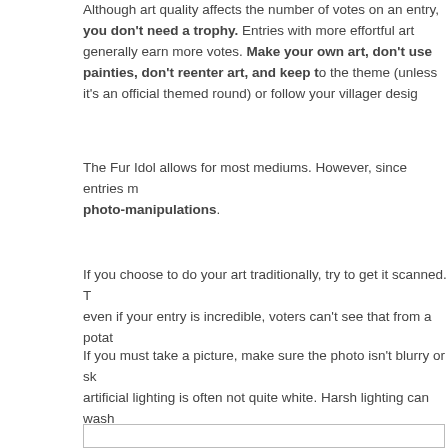Although art quality affects the number of votes on an entry, you don't need a trophy. Entries with more effortful art generally earn more votes. Make your own art, don't use painties, don't reenter art, and keep to the theme (unless it's an official themed round) or follow your villager design.
The Fur Idol allows for most mediums. However, since entries must be digital, no photo-manipulations.
If you choose to do your art traditionally, try to get it scanned. The quality matters — even if your entry is incredible, voters can't see that from a potato camera.
If you must take a picture, make sure the photo isn't blurry or skewed, and note that artificial lighting is often not quite white. Harsh lighting can wash out colors. Prop your piece up so you don't cast shadows onto it, and take several pic